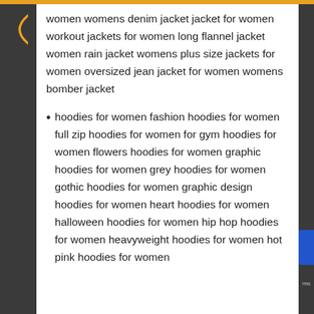women womens denim jacket jacket for women workout jackets for women long flannel jacket women rain jacket womens plus size jackets for women oversized jean jacket for women womens bomber jacket
hoodies for women fashion hoodies for women full zip hoodies for women for gym hoodies for women flowers hoodies for women graphic hoodies for women grey hoodies for women gothic hoodies for women graphic design hoodies for women heart hoodies for women halloween hoodies for women hip hop hoodies for women heavyweight hoodies for women hot pink hoodies for women